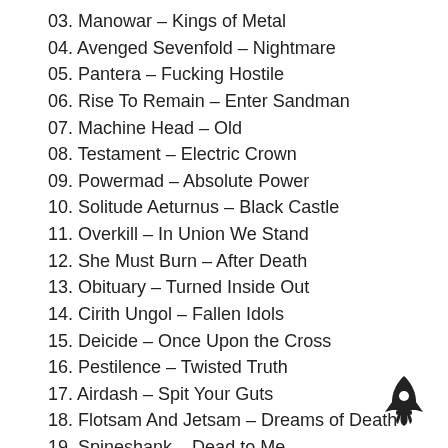03. Manowar – Kings of Metal
04. Avenged Sevenfold – Nightmare
05. Pantera – Fucking Hostile
06. Rise To Remain – Enter Sandman
07. Machine Head – Old
08. Testament – Electric Crown
09. Powermad – Absolute Power
10. Solitude Aeturnus – Black Castle
11. Overkill – In Union We Stand
12. She Must Burn – After Death
13. Obituary – Turned Inside Out
14. Cirith Ungol – Fallen Idols
15. Deicide – Once Upon the Cross
16. Pestilence – Twisted Truth
17. Airdash – Spit Your Guts
18. Flotsam And Jetsam – Dreams of Death
19. Spineshank – Dead to Me
20. The Great Kat – Total Tyrant
21. Taproot – Impact
[Figure (illustration): Black rocket ship icon in bottom right corner]